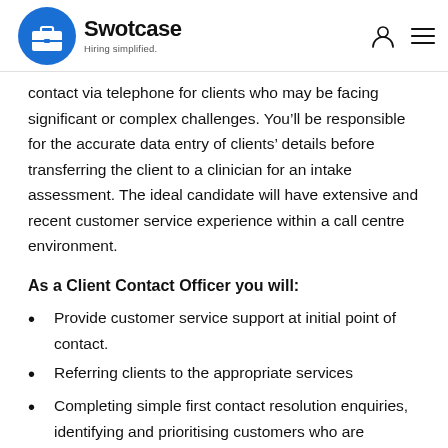Swotcase — Hiring simplified.
contact via telephone for clients who may be facing significant or complex challenges. You'll be responsible for the accurate data entry of clients' details before transferring the client to a clinician for an intake assessment. The ideal candidate will have extensive and recent customer service experience within a call centre environment.
As a Client Contact Officer you will:
Provide customer service support at initial point of contact.
Referring clients to the appropriate services
Completing simple first contact resolution enquiries, identifying and prioritising customers who are potentially vulnerable, in distress or who have accessibility issues